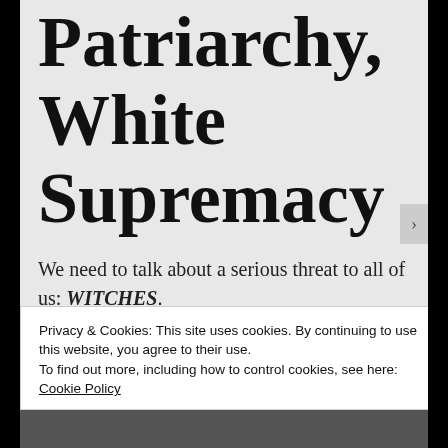Patriarchy, White Supremacy
We need to talk about a serious threat to all of us: WITCHES.
Witches are evil. They are a great evil at work in the world right now, using their
Privacy & Cookies: This site uses cookies. By continuing to use this website, you agree to their use.
To find out more, including how to control cookies, see here: Cookie Policy
Close and accept